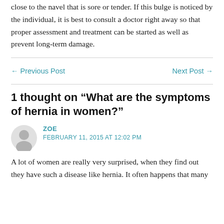close to the navel that is sore or tender. If this bulge is noticed by the individual, it is best to consult a doctor right away so that proper assessment and treatment can be started as well as prevent long-term damage.
← Previous Post
Next Post →
1 thought on “What are the symptoms of hernia in women?”
ZOE
FEBRUARY 11, 2015 AT 12:02 PM
A lot of women are really very surprised, when they find out they have such a disease like hernia. It often happens that many